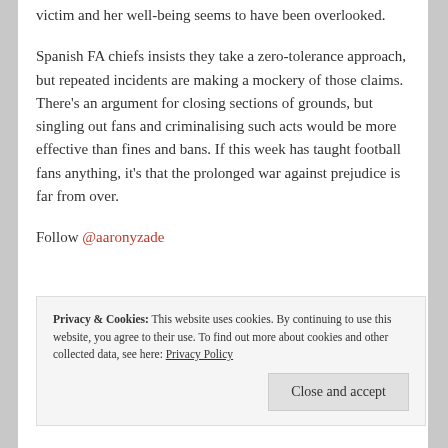victim and her well-being seems to have been overlooked.
Spanish FA chiefs insists they take a zero-tolerance approach, but repeated incidents are making a mockery of those claims. There's an argument for closing sections of grounds, but singling out fans and criminalising such acts would be more effective than fines and bans. If this week has taught football fans anything, it's that the prolonged war against prejudice is far from over.
Follow @aaronyzade
Privacy & Cookies: This website uses cookies. By continuing to use this website, you agree to their use. To find out more about cookies and other collected data, see here: Privacy Policy
Close and accept